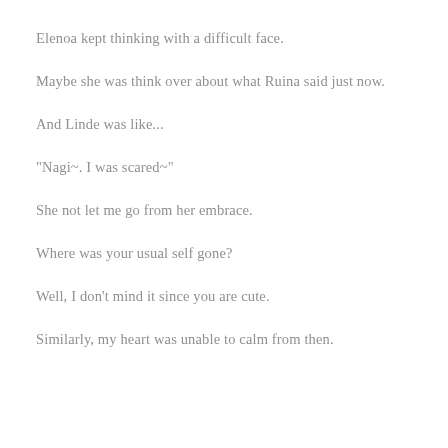Elenoa kept thinking with a difficult face.
Maybe she was think over about what Ruina said just now.
And Linde was like...
"Nagi~. I was scared~"
She not let me go from her embrace.
Where was your usual self gone?
Well, I don't mind it since you are cute.
Similarly, my heart was unable to calm from then.